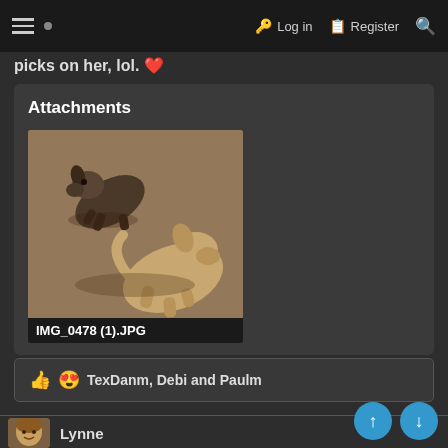≡ · Log in · Register 🔍
picks on her, lol. ❤️
Attachments
[Figure (photo): Two small dogs playing or interacting on a carpet floor, photographed from above. One appears to be a tan/beige chihuahua and the other is smaller and darker.]
👍 😍 TexDanm, Debi and Paulm
Lynne